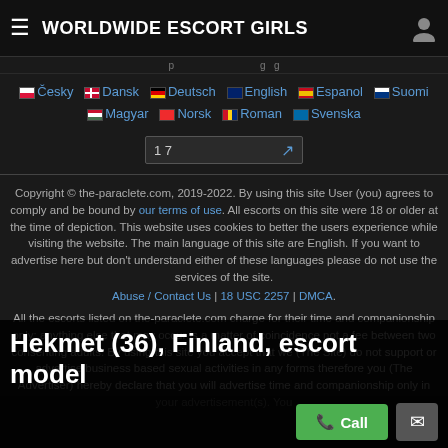WORLDWIDE ESCORT GIRLS
Česky  Dansk  Deutsch  English  Espanol  Suomi  Magyar  Norsk  Roman  Svenska
17 ↗
Copyright © the-paraclete.com, 2019-2022. By using this site User (you) agrees to comply and be bound by our terms of use. All escorts on this site were 18 or older at the time of depiction. This website uses cookies to better the users experience while visiting the website. The main language of this site are English. If you want to advertise here but don't understand either of these languages please do not use the services of the site.
Abuse / Contact Us | 18 USC 2257 | DMCA.
All the escorts listed on the-paraclete.com charge for their time and companionship only; anything else that may occur is a matter of coincidence not a fee between two consenting adults. By using this site you accept that we (The Site) do not support or advertise business based sexual activities in any forms therefore you (The Advertiser) hereby declare that you will advertise time and companionship only in your advertisement(s). You
Hekmet (36), Finland, escort model